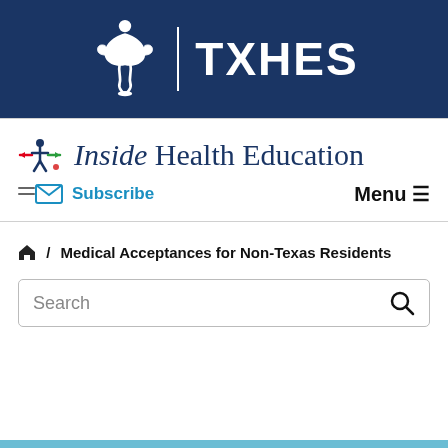[Figure (logo): TXHES logo with white caduceus-style figure and TXHES text on dark navy blue background]
Inside Health Education
Subscribe
Menu ☰
🏠 / Medical Acceptances for Non-Texas Residents
Search